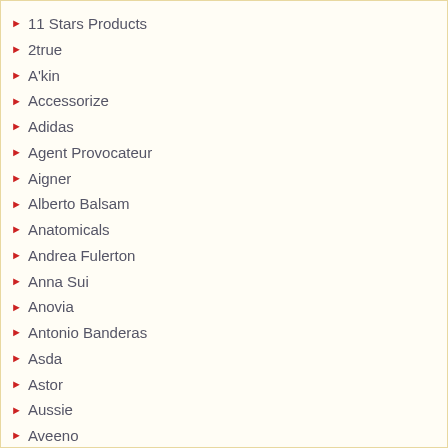11 Stars Products
2true
A'kin
Accessorize
Adidas
Agent Provocateur
Aigner
Alberto Balsam
Anatomicals
Andrea Fulerton
Anna Sui
Anovia
Antonio Banderas
Asda
Astor
Aussie
Aveeno
B.
Balance